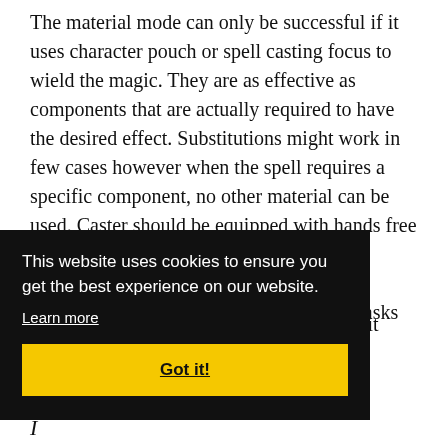The material mode can only be successful if it uses character pouch or spell casting focus to wield the magic. They are as effective as components that are actually required to have the desired effect. Substitutions might work in few cases however when the spell requires a specific component, no other material can be used. Caster should be equipped with hands free device to find the desired material while holding the spell casting focus. If you are skilled, it is possible to perform both the tasks with a single hand.
…me it …d, …ast …e
[Figure (screenshot): Cookie consent banner with black background. Text reads: 'This website uses cookies to ensure you get the best experience on our website.' with a 'Learn more' underlined link, and a yellow 'Got it!' button.]
I...